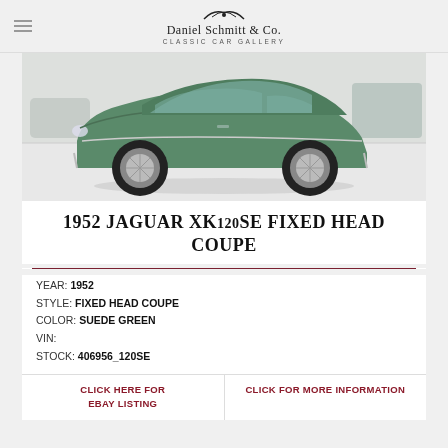Daniel Schmitt & Co. Classic Car Gallery
[Figure (photo): Side view of a 1952 Jaguar XK120SE Fixed Head Coupe in Suede Green, displayed in a showroom with white floor]
1952 JAGUAR XK120SE FIXED HEAD COUPE
YEAR: 1952
STYLE: FIXED HEAD COUPE
COLOR: SUEDE GREEN
VIN:
STOCK: 406956_120SE
CLICK HERE FOR EBAY LISTING
CLICK FOR MORE INFORMATION